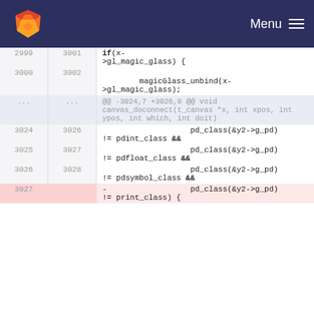GitLab Menu
[Figure (screenshot): Code diff view from GitLab showing lines 2999-3027 of a C source file with line number columns and code content]
2999  3001  if(x->gl_magic_glass) {
3000  3002  magicGlass_unbind(x->gl_magic_glass);
...  ...  @@ -3024,7 +3026,8 @@ void canvas_doconnect(t_canvas *x, int xpos, int ypos, int which, int doit)
3024  3026  pd_class(&y2->g_pd) != pdint_class &&
3025  3027  pd_class(&y2->g_pd) != pdfloat_class &&
3026  3028  pd_class(&y2->g_pd) != pdsymbol_class &&
3027  -  pd_class(&y2->g_pd) != print_class) {